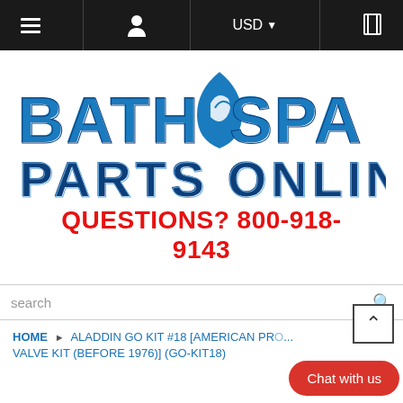≡  👤  USD ▼  🗋
[Figure (logo): Bath Spa Parts Online logo with blue water droplet graphic and bold blue text]
QUESTIONS? 800-918-9143
search
HOME › ALADDIN GO KIT #18 [AMERICAN PRO... VALVE KIT (BEFORE 1976)] (GO-KIT18)
Chat with us